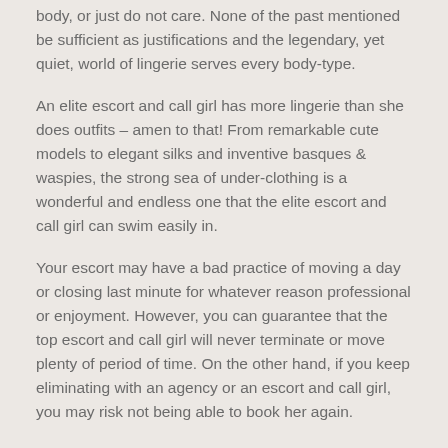body, or just do not care. None of the past mentioned be sufficient as justifications and the legendary, yet quiet, world of lingerie serves every body-type.
An elite escort and call girl has more lingerie than she does outfits – amen to that! From remarkable cute models to elegant silks and inventive basques & waspies, the strong sea of under-clothing is a wonderful and endless one that the elite escort and call girl can swim easily in.
Your escort may have a bad practice of moving a day or closing last minute for whatever reason professional or enjoyment. However, you can guarantee that the top escort and call girl will never terminate or move plenty of period of time. On the other hand, if you keep eliminating with an agency or an escort and call girl, you may risk not being able to book her again.
Dalhousie Escorts - GF Escorts
We are the best and well-known escort and call girl agency